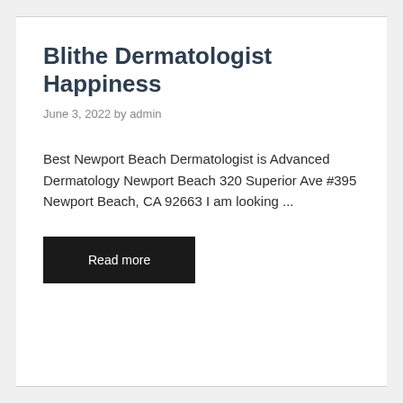Blithe Dermatologist Happiness
June 3, 2022 by admin
Best Newport Beach Dermatologist is Advanced Dermatology Newport Beach 320 Superior Ave #395 Newport Beach, CA 92663 I am looking ...
Read more